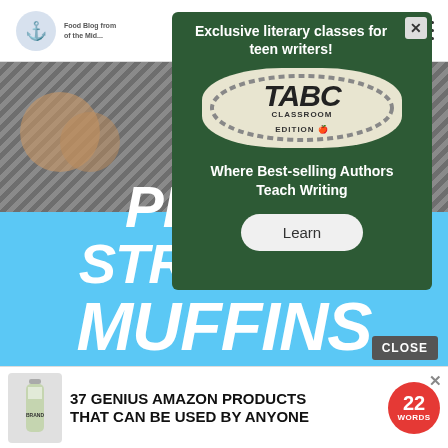[Figure (screenshot): Background food photo showing baked goods on a cooling rack, partially visible at top]
PEACH STREUSEL MUFFINS
[Figure (advertisement): Popup ad overlay: TABC Classroom Edition. Text reads 'Exclusive literary classes for teen writers! Where Best-selling Authors Teach Writing' with a Learn button]
[Figure (advertisement): Bottom banner ad: bottle product image with text '37 GENIUS AMAZON PRODUCTS THAT CAN BE USED BY ANYONE' and a red circular badge with '22 WORDS']